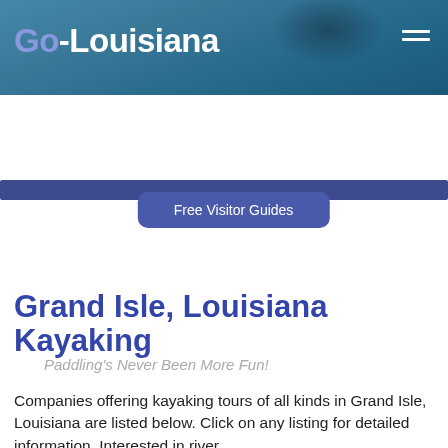Go-Louisiana
[Figure (screenshot): Website header banner with kayaker photo background and Go-Louisiana logo text, with hamburger menu icon top right]
[Figure (screenshot): Dark blue navigation bar with Free Visitor Guides button below it]
Grand Isle, Louisiana Kayaking
Paddling's Never Been More Fun!
Companies offering kayaking tours of all kinds in Grand Isle, Louisiana are listed below. Click on any listing for detailed information. Interested in river